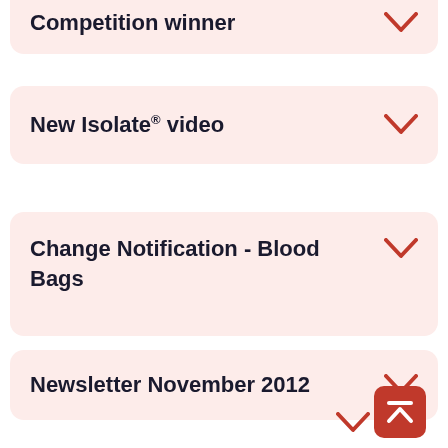Competition winner
New Isolate® video
Change Notification - Blood Bags
Newsletter November 2012
(partially visible bottom item)